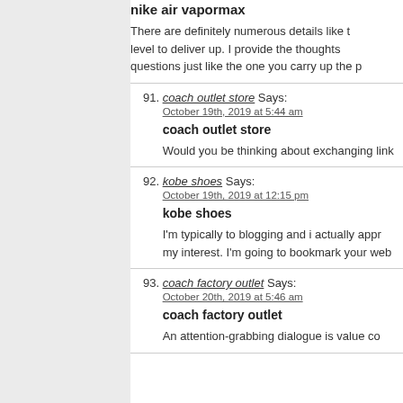nike air vapormax
There are definitely numerous details like that level to deliver up. I provide the thoughts questions just like the one you carry up the p
91. coach outlet store Says:
October 19th, 2019 at 5:44 am
coach outlet store
Would you be thinking about exchanging link
92. kobe shoes Says:
October 19th, 2019 at 12:15 pm
kobe shoes
I'm typically to blogging and i actually appr my interest. I'm going to bookmark your web
93. coach factory outlet Says:
October 20th, 2019 at 5:46 am
coach factory outlet
An attention-grabbing dialogue is value co